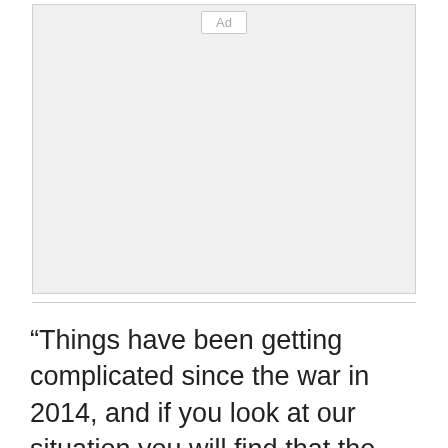[Figure (other): Advertisement placeholder box with 'Ad' label button at the top center]
“Things have been getting complicated since the war in 2014, and if you look at our situation you will find that the elements of life are about to go. The electricity is cut off…